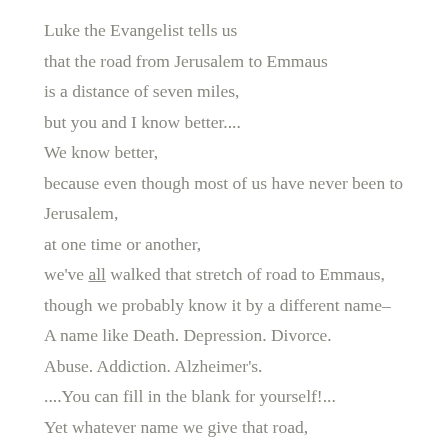Luke the Evangelist tells us
that the road from Jerusalem to Emmaus
is a distance of seven miles,
but you and I know better....
We know better,
because even though most of us have never been to
Jerusalem,
at one time or another,
we've all walked that stretch of road to Emmaus,
though we probably know it by a different name–
A name like Death. Depression. Divorce.
Abuse. Addiction. Alzheimer's.
....You can fill in the blank for yourself!...
Yet whatever name we give that road,
you and I know that the journey